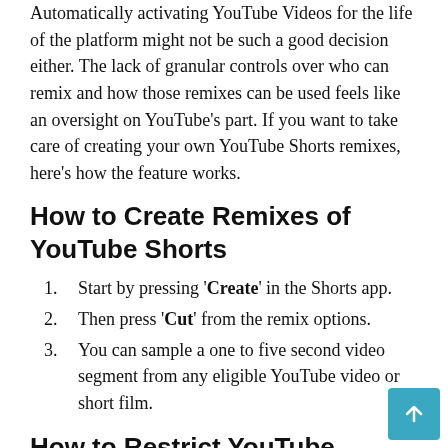Automatically activating YouTube Videos for the life of the platform might not be such a good decision either. The lack of granular controls over who can remix and how those remixes can be used feels like an oversight on YouTube's part. If you want to take care of creating your own YouTube Shorts remixes, here's how the feature works.
How to Create Remixes of YouTube Shorts
Start by pressing 'Create' in the Shorts app.
Then press 'Cut' from the remix options.
You can sample a one to five second video segment from any eligible YouTube video or short film.
How to Restrict YouTube Videos from Short Remixes
You don't want your YouTube videos to be eligible remix? Here are the steps to unsubscribe.
Login to YouTube Studio.